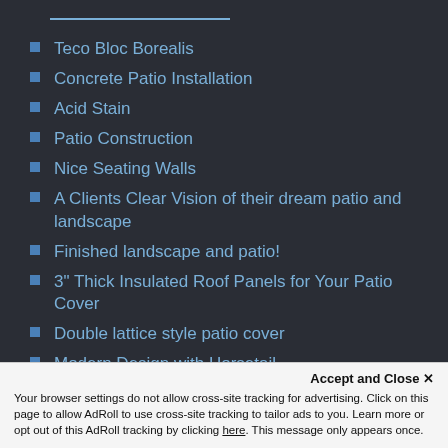Teco Bloc Borealis
Concrete Patio Installation
Acid Stain
Patio Construction
Nice Seating Walls
A Clients Clear Vision of their dream patio and landscape
Finished landscape and patio!
3" Thick Insulated Roof Panels for Your Patio Cover
Double lattice style patio cover
Modern Design with Horsetail
Accept and Close ✕
Your browser settings do not allow cross-site tracking for advertising. Click on this page to allow AdRoll to use cross-site tracking to tailor ads to you. Learn more or opt out of this AdRoll tracking by clicking here. This message only appears once.